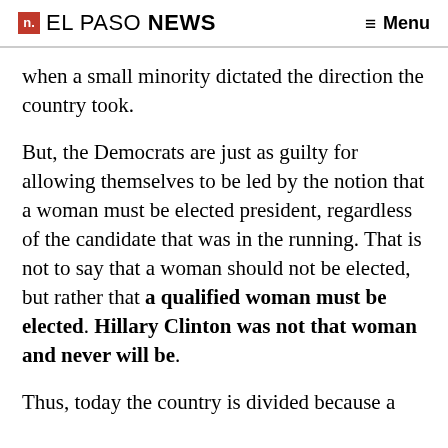n. EL PASO NEWS  ≡ Menu
when a small minority dictated the direction the country took.
But, the Democrats are just as guilty for allowing themselves to be led by the notion that a woman must be elected president, regardless of the candidate that was in the running. That is not to say that a woman should not be elected, but rather that a qualified woman must be elected. Hillary Clinton was not that woman and never will be.
Thus, today the country is divided because a